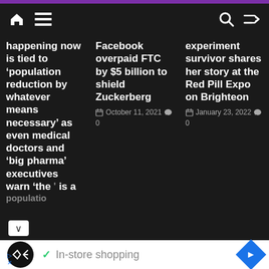Navigation bar with home, menu, search, and shuffle icons
happening now is tied to ‘population reduction by whatever means necessary’ as even medical doctors and ‘big pharma’ executives warn ‘the [vaccine] is a [population...
Facebook overpaid FTC by $5 billion to shield Zuckerberg
October 11, 2021  💬 0
experiment survivor shares her story at the Red Pill Expo on Brighteon
January 23, 2022  💬 0
✓ In-store shopping